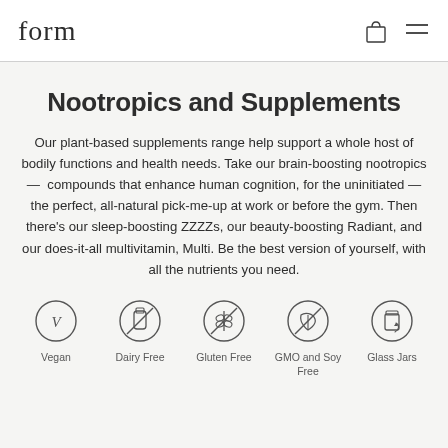form
Nootropics and Supplements
Our plant-based supplements range help support a whole host of bodily functions and health needs. Take our brain-boosting nootropics —  compounds that enhance human cognition, for the uninitiated — the perfect, all-natural pick-me-up at work or before the gym. Then there's our sleep-boosting ZZZZs, our beauty-boosting Radiant, and our does-it-all multivitamin, Multi. Be the best version of yourself, with all the nutrients you need.
[Figure (infographic): Five circular icons in a row: Vegan, Dairy Free, Gluten Free, GMO and Soy Free, Glass Jars]
Vegan   Dairy Free   Gluten Free   GMO and Soy Free   Glass Jars